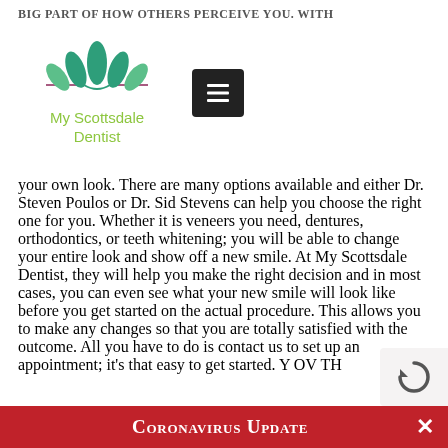BIG PART OF HOW OTHERS PERCEIVE YOU. WITH
[Figure (logo): My Scottsdale Dentist logo with green lotus flower and green text, plus a dark hamburger menu button]
YOUR OWN LOOK. THERE ARE MANY OPTIONS AVAILABLE AND EITHER DR. STEVEN POULOS OR DR. SID STEVENS CAN HELP YOU CHOOSE THE RIGHT ONE FOR YOU. WHETHER IT IS VENEERS YOU NEED, DENTURES, ORTHODONTICS, OR TEETH WHITENING; YOU WILL BE ABLE TO CHANGE YOUR ENTIRE LOOK AND SHOW OFF A NEW SMILE. AT MY SCOTTSDALE DENTIST, THEY WILL HELP YOU MAKE THE RIGHT DECISION AND IN MOST CASES, YOU CAN EVEN SEE WHAT YOUR NEW SMILE WILL LOOK LIKE BEFORE YOU GET STARTED ON THE ACTUAL PROCEDURE. THIS ALLOWS YOU TO MAKE ANY CHANGES SO THAT YOU ARE TOTALLY SATISFIED WITH THE OUTCOME. ALL YOU HAVE TO DO IS CONTACT US TO SET UP AN APPOINTMENT; IT'S THAT EASY TO GET STARTED. Y OV TH
CORONAVIRUS UPDATE